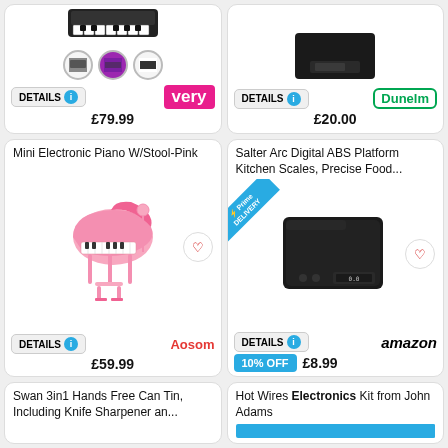[Figure (screenshot): Top partial product card left: keyboard/piano product with variant color circle icons, DETAILS button, very logo, price £79.99]
[Figure (screenshot): Top partial product card right: black platform scales product, DETAILS button, Dunelm logo, price £20.00]
Mini Electronic Piano W/Stool-Pink
[Figure (photo): Pink mini electronic grand piano with stool]
DETAILS
Aosom
£59.99
Salter Arc Digital ABS Platform Kitchen Scales, Precise Food...
[Figure (photo): Black digital kitchen scales with Prime Delivery badge]
DETAILS
amazon
10% OFF
£8.99
Swan 3in1 Hands Free Can Tin, Including Knife Sharpener an...
Hot Wires Electronics Kit from John Adams